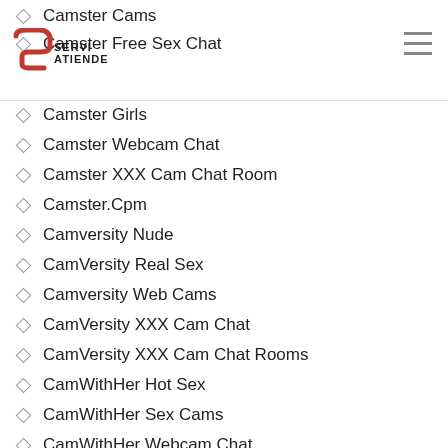SERVI ATIENDE
Camster Cams
Camster Free Sex Chat
Camster Girls
Camster Webcam Chat
Camster XXX Cam Chat Room
Camster.Cpm
Camversity Nude
CamVersity Real Sex
Camversity Web Cams
CamVersity XXX Cam Chat
CamVersity XXX Cam Chat Rooms
CamWithHer Hot Sex
CamWithHer Sex Cams
CamWithHer Webcam Chat
CamWithHer Webcam Chat Room
Camwithher.Con
Camwithherr
car title loan orlando fl